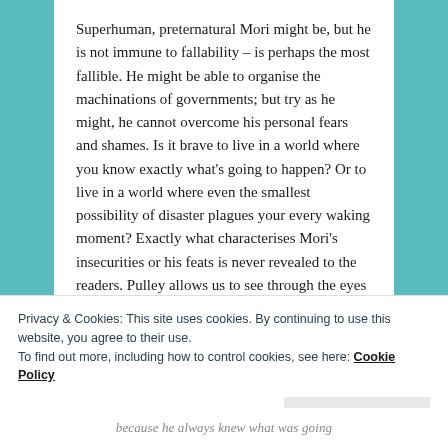Superhuman, preternatural Mori might be, but he is not immune to fallability – is perhaps the most fallible. He might be able to organise the machinations of governments; but try as he might, he cannot overcome his personal fears and shames. Is it brave to live in a world where you know exactly what's going to happen? Or to live in a world where even the smallest possibility of disaster plagues your every waking moment? Exactly what characterises Mori's insecurities or his feats is never revealed to the readers. Pulley allows us to see through the eyes of his companions, his lovers, but not Mori's own. And there is nothing favourable about the perspective of a lover
Privacy & Cookies: This site uses cookies. By continuing to use this website, you agree to their use.
To find out more, including how to control cookies, see here: Cookie Policy
Close and accept
because he always knew what was going